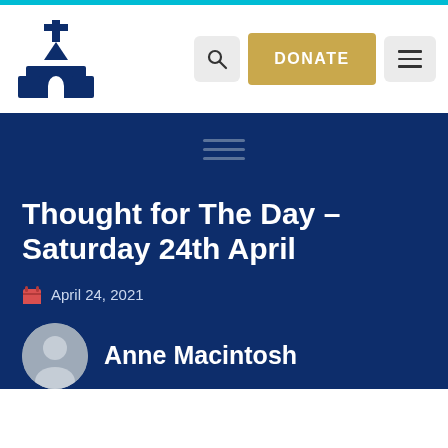[Figure (logo): Church silhouette logo in dark navy blue showing a church building with a cross on top]
DONATE
Thought for The Day – Saturday 24th April
April 24, 2021
Anne Macintosh